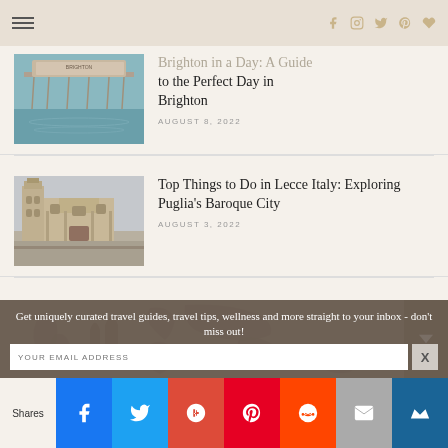Navigation header with hamburger menu and social icons (Facebook, Instagram, Twitter, Pinterest, Heart)
[Figure (photo): Brighton Palace Pier extending over the sea, teal-blue water, Victorian structure]
Brighton in a Day: A Guide to the Perfect Day in Brighton
AUGUST 8, 2022
[Figure (photo): Baroque church in Lecce, Italy, with bell tower and ornate stone facade under cloudy sky]
Top Things to Do in Lecce Italy: Exploring Puglia's Baroque City
AUGUST 3, 2022
[Figure (map): World map silhouette in muted brownish-rose tones used as background section divider]
Get uniquely curated travel guides, travel tips, wellness and more straight to your inbox - don't miss out!
YOUR EMAIL ADDRESS
Shares | Facebook | Twitter | Google+ | Pinterest | Reddit | Mail | Crown sharing buttons